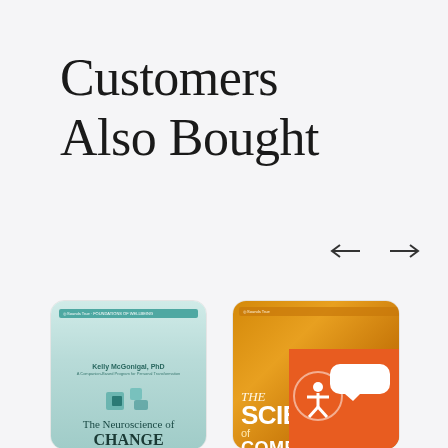Customers Also Bought
[Figure (screenshot): Left navigation arrow and right navigation arrow for carousel]
[Figure (photo): Book cover: The Neuroscience of Change by Kelly McGonigal, PhD — teal/blue-green themed book cover]
[Figure (photo): Book cover: The Science of Compassion — orange/gold themed book cover with bold text]